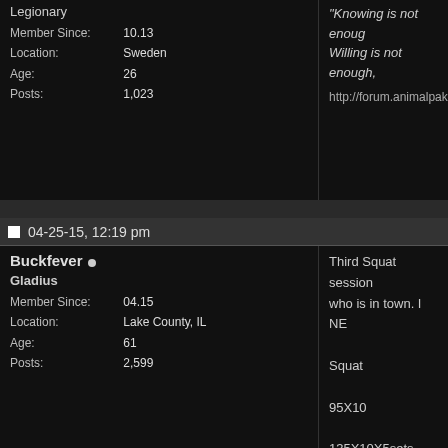Legionary
Member Since: 10.13
Location: Sweden
Age: 26
Posts: 1,023
"Knowing is not enough, Willing is not enough,
http://forum.animalpak
04-25-15, 12:19 pm
Buckfever
Gladius
Member Since: 04.15
Location: Lake County, IL
Age: 61
Posts: 2,599
Third Squat session who is in town. I NE

Squat

95X10

135X10X5sets

135X12

Widened the stance deep and focused o and driving up stron work is essential for used to help me was all the way up the s